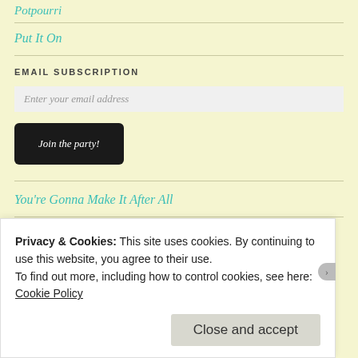Potpourri
Put It On
EMAIL SUBSCRIPTION
Enter your email address
Join the party!
You're Gonna Make It After All
Classic
Privacy & Cookies: This site uses cookies. By continuing to use this website, you agree to their use.
To find out more, including how to control cookies, see here: Cookie Policy
Close and accept